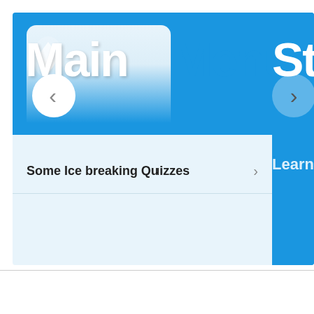[Figure (screenshot): A mobile app screenshot showing a 'Main Menu' screen. The header has a blue background with 'Main Menu' text in large white and blue bold font. A back arrow circle button is visible on the left side. A list item 'Some Ice breaking Quizzes' with a chevron arrow is shown in the light blue content area. A partially visible right panel shows a forward button circle and 'St...' text (partially cut off), and 'Learn' text below.]